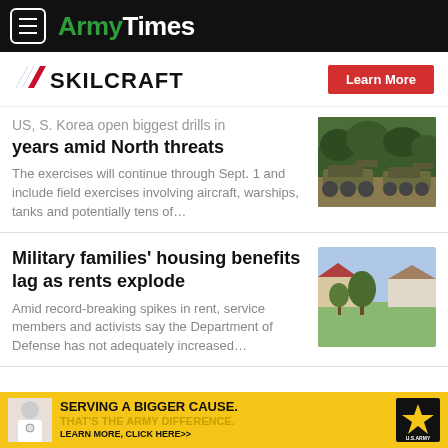ArmyTimes
[Figure (logo): SKILCRAFT logo with diagonal chevron stripes and Learn More red button]
US, S. Korea open biggest drills in years amid North threats
The exercises will continue through Sept. 1 and include field exercises involving aircraft, warships, tanks and potentially tens of…
[Figure (photo): Military tanks in a field with trees in the background]
Military families' housing benefits lag as rents explode
Amid record-breaking spikes in rent, service members and activists say the Department of Defense has not adequately increased…
[Figure (photo): Suburban street with trees and houses]
[Figure (infographic): US Army recruitment ad: SERVING A BIGGER CAUSE. THAT'S THE ARMY DIFFERENCE. LEARN MORE, CLICK HERE]